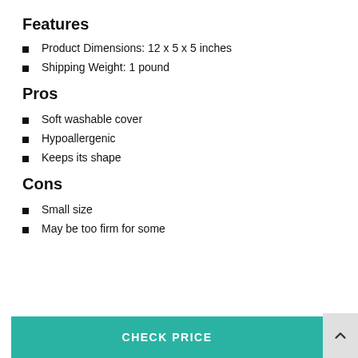Features
Product Dimensions: 12 x 5 x 5 inches
Shipping Weight: 1 pound
Pros
Soft washable cover
Hypoallergenic
Keeps its shape
Cons
Small size
May be too firm for some
CHECK PRICE